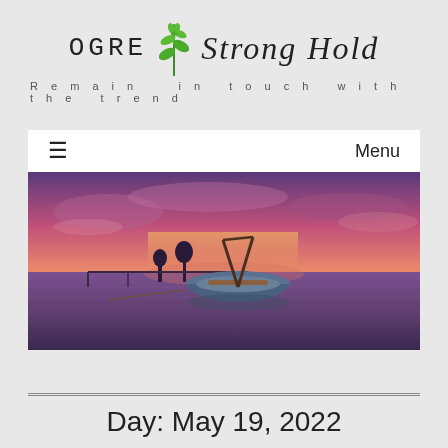[Figure (logo): OGRE Strong Hold logo with plant/leaf graphic in the center. Tagline: Remain in touch with the trend]
[Figure (photo): Panoramic photo of a small wooden boat moored on calm water at sunset, with vivid purple and pink sky reflected in the water]
Menu
Day: May 19, 2022